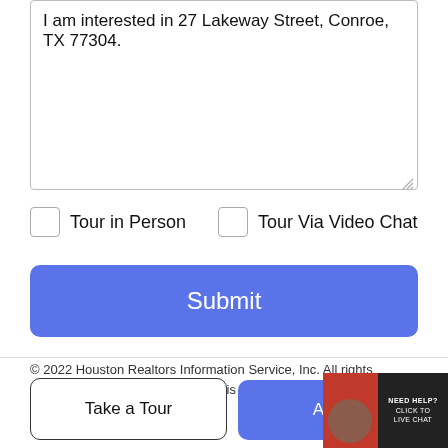I am interested in 27 Lakeway Street, Conroe, TX 77304.
Tour in Person
Tour Via Video Chat
Submit
Disclaimer: By entering your information and submitting this form, you agree to our Terms of Use and Privacy Policy and that you may be contacted by phone, text message and email about your inquiry.
© 2022 Houston Realtors Information Service, Inc. All rights reserved. All information provided is deemed reliable but is not
Take a Tour
Ask A Q...
[Figure (photo): Live chat widget with agent avatar, showing 'NEED HELP? CLICK TO LIVE CHAT' text on dark background]